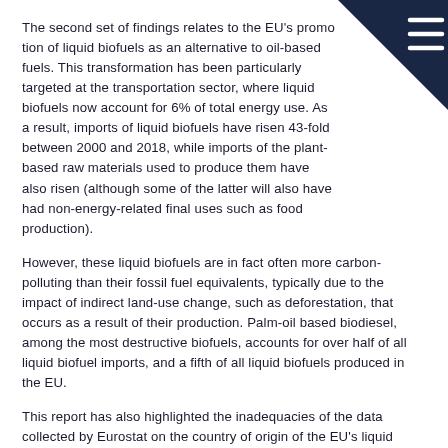The second set of findings relates to the EU's promotion of liquid biofuels as an alternative to oil-based fuels. This transformation has been particularly targeted at the transportation sector, where liquid biofuels now account for 6% of total energy use. As a result, imports of liquid biofuels have risen 43-fold between 2000 and 2018, while imports of the plant-based raw materials used to produce them have also risen (although some of the latter will also have had non-energy-related final uses such as food production).
However, these liquid biofuels are in fact often more carbon-polluting than their fossil fuel equivalents, typically due to the impact of indirect land-use change, such as deforestation, that occurs as a result of their production. Palm-oil based biodiesel, among the most destructive biofuels, accounts for over half of all liquid biofuel imports, and a fifth of all liquid biofuels produced in the EU.
This report has also highlighted the inadequacies of the data collected by Eurostat on the country of origin of the EU's liquid biofuels imports. This information is crucial in assessing the environmental impacts of the EU's biofuels consumption, yet it is missing for over half of the EU's liquid biofuels imports.